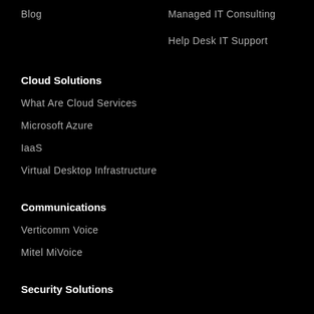Blog
Managed IT Consulting
Help Desk IT Support
Cloud Solutions
What Are Cloud Services
Microsoft Azure
IaaS
Virtual Desktop Infrastructure
Communications
Verticomm Voice
Mitel MiVoice
Security Solutions